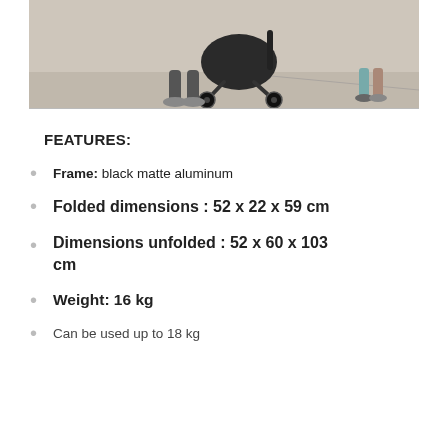[Figure (photo): Photo of a person pushing a stroller/pram on pavement, showing wheels and lower body of person]
FEATURES:
Frame: black matte aluminum
Folded dimensions : 52 x 22 x 59 cm
Dimensions unfolded : 52 x 60 x 103 cm
Weight: 16 kg
Can be used up to 18 kg